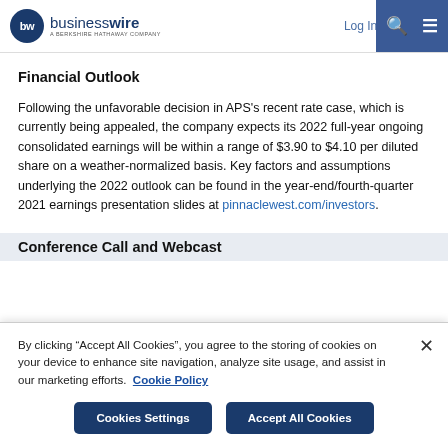businesswire — A Berkshire Hathaway Company | Log In | Sign Up
Financial Outlook
Following the unfavorable decision in APS's recent rate case, which is currently being appealed, the company expects its 2022 full-year ongoing consolidated earnings will be within a range of $3.90 to $4.10 per diluted share on a weather-normalized basis. Key factors and assumptions underlying the 2022 outlook can be found in the year-end/fourth-quarter 2021 earnings presentation slides at pinnaclewest.com/investors.
Conference Call and Webcast
By clicking "Accept All Cookies", you agree to the storing of cookies on your device to enhance site navigation, analyze site usage, and assist in our marketing efforts.  Cookie Policy
Cookies Settings | Accept All Cookies